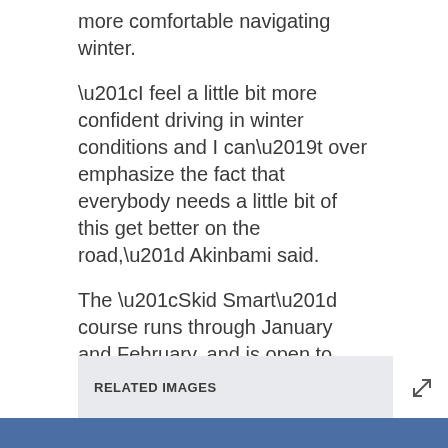more comfortable navigating winter.
“I feel a little bit more confident driving in winter conditions and I can’t over emphasize the fact that everybody needs a little bit of this get better on the road,” Akinbami said.
The “Skid Smart” course runs through January and February, and is open to anyone with a valid drivers license.
Registration information can be found on the Saskatchewan Safety Council’s website. (https://www.sasksafety.org/)
RELATED IMAGES